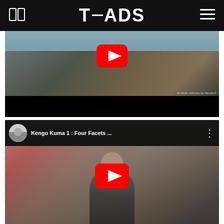T—ADS
[Figure (screenshot): YouTube video thumbnail showing people in a park/outdoor setting in Japan, with a red YouTube play button overlay. Art Work: reflectwo by Hanuka H watermark visible.]
[Figure (screenshot): YouTube video embed titled 'Kengo Kuma 1 : Four Facets ...' showing an older man walking through a busy Japanese street market (appears to be Nakamise in Asakusa), with red YouTube play button overlay and YouTube channel avatar/icon in the top bar.]